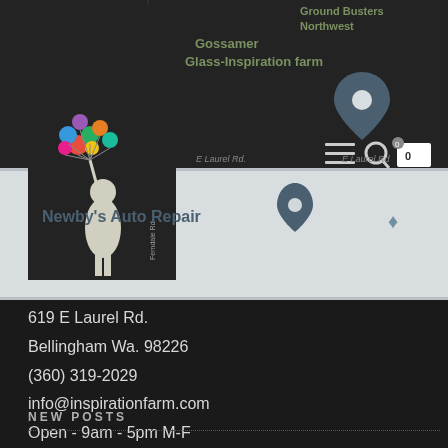[Figure (screenshot): Website header showing a map with Gossamer Glass-Inspiration Farm location marker, logo of a figure carrying balloons, site navigation icons (hamburger menu, search, cart), and a map strip showing Newby's Auto Repair pin and surrounding streets near E Laurel Rd, Bellingham WA.]
619 E Laurel Rd.
Bellingham Wa. 98226
(360) 319-2029
info@inspirationfarm.com
Open - 9am - 5pm M-F
NEW POSTS